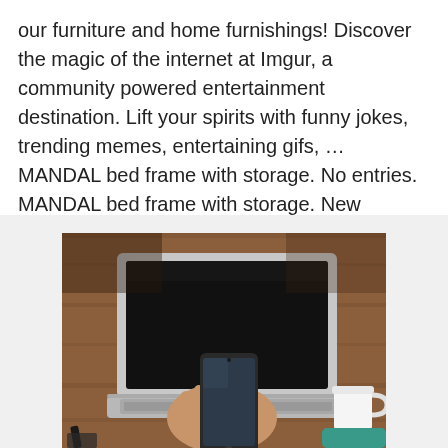our furniture and home furnishings! Discover the magic of the internet at Imgur, a community powered entertainment destination. Lift your spirits with funny jokes, trending memes, entertaining gifs, ... MANDAL bed frame with storage. No entries. MANDAL bed frame with storage. New payment plan without a card available at the IKEA Stores.
[Figure (photo): A person holding a smartphone in front of an open laptop computer on a wooden table, with a white cup visible on the right side. The laptop screen is dark/black.]